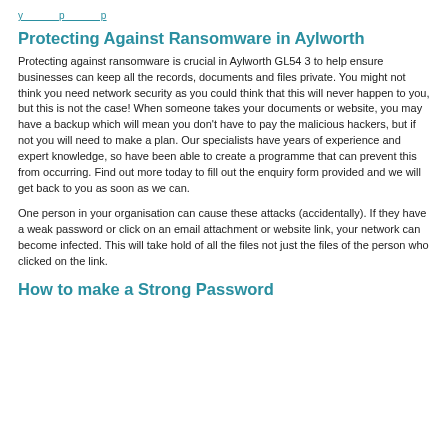y ... p ... p
Protecting Against Ransomware in Aylworth
Protecting against ransomware is crucial in Aylworth GL54 3 to help ensure businesses can keep all the records, documents and files private. You might not think you need network security as you could think that this will never happen to you, but this is not the case! When someone takes your documents or website, you may have a backup which will mean you don't have to pay the malicious hackers, but if not you will need to make a plan. Our specialists have years of experience and expert knowledge, so have been able to create a programme that can prevent this from occurring. Find out more today to fill out the enquiry form provided and we will get back to you as soon as we can.
One person in your organisation can cause these attacks (accidentally). If they have a weak password or click on an email attachment or website link, your network can become infected. This will take hold of all the files not just the files of the person who clicked on the link.
How to make a Strong Password